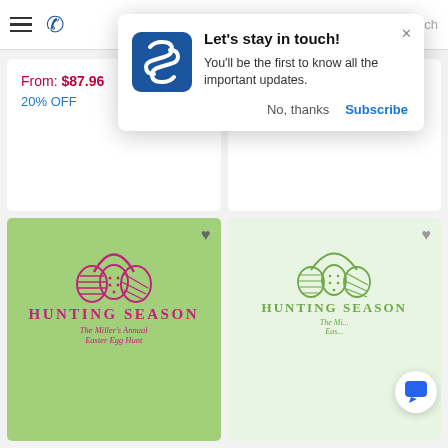[Figure (screenshot): Mobile website screenshot showing a 'Let's stay in touch!' notification popup with a blue S-logo, dismiss and subscribe buttons, and a product grid showing Easter egg hunt napkins with prices From: $87.96 and From: $63.16, both 20% OFF, and product images of green 'Hunting Season' napkins with 'The Miller's Annual Easter Egg Hunt' text.]
Let's stay in touch!
You'll be the first to know all the important updates.
No, thanks
Subscribe
From: $87.96
20% OFF
From: $63.16
20% OFF
HUNTING SEASON
The Miller's Annual Easter Egg Hunt
HUNTING SEASON
TOP